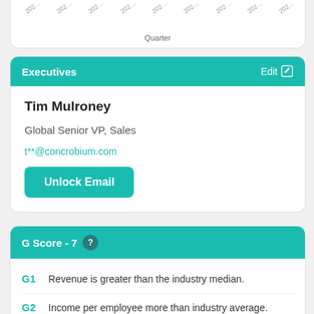[Figure (continuous-plot): Partial bottom of a chart showing x-axis quarter labels (2021, 2021, 202x series) and x-axis title 'Quarter']
Executives
Tim Mulroney
Global Senior VP, Sales
t**@concrobium.com
Unlock Email
G Score - 7
G1  Revenue is greater than the industry median.
G2  Income per employee more than industry average.